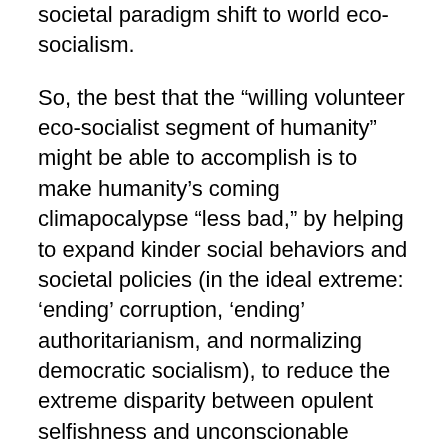societal paradigm shift to world eco-socialism.
So, the best that the “willing volunteer eco-socialist segment of humanity” might be able to accomplish is to make humanity’s coming climapocalypse “less bad,” by helping to expand kinder social behaviors and societal policies (in the ideal extreme: ‘ending’ corruption, ‘ending’ authoritarianism, and normalizing democratic socialism), to reduce the extreme disparity between opulent selfishness and unconscionable suffering by the impoverished that exists now, and which disparity would otherwise expand.
There is so much greenhouse gas already in the climate-change pipeline that we are locked into continuing and accelerating climate change: a runaway train with no brakes. There is about a 30 year lag-time between new